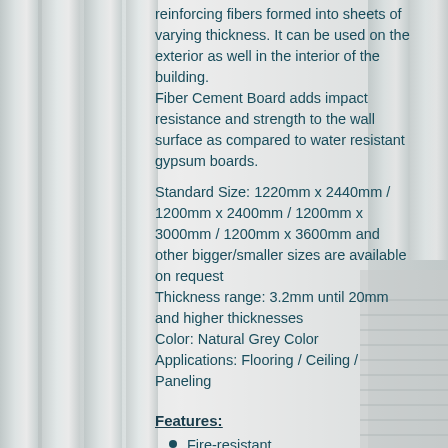reinforcing fibers formed into sheets of varying thickness. It can be used on the exterior as well in the interior of the building.
Fiber Cement Board adds impact resistance and strength to the wall surface as compared to water resistant gypsum boards.
Standard Size: 1220mm x 2440mm / 1200mm x 2400mm / 1200mm x 3000mm / 1200mm x 3600mm and other bigger/smaller sizes are available on request
Thickness range: 3.2mm until 20mm and higher thicknesses
Color: Natural Grey Color
Applications: Flooring / Ceiling / Paneling
Features:
Fire-resistant
High Impact Resistant
100% Non-Asbestos
High Heat and Humidity Resistant